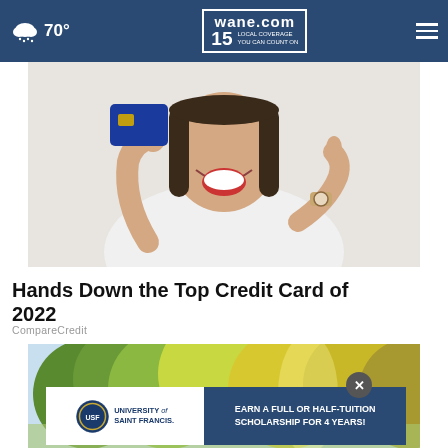70° | wane.com 15 LOCAL COVERAGE YOU CAN COUNT ON
[Figure (photo): Woman in white shirt smiling and holding up a blue credit card, pointing at it with her other hand. She is wearing a watch.]
Hands Down the Top Credit Card of 2022
CompareCredit
[Figure (photo): Outdoor scene with trees showing autumn foliage in green and yellow, appears to be a neighborhood or campus setting.]
[Figure (other): Advertisement for University of Saint Francis: EARN A FULL OR HALF-TUITION SCHOLARSHIP FOR 4 YEARS!]